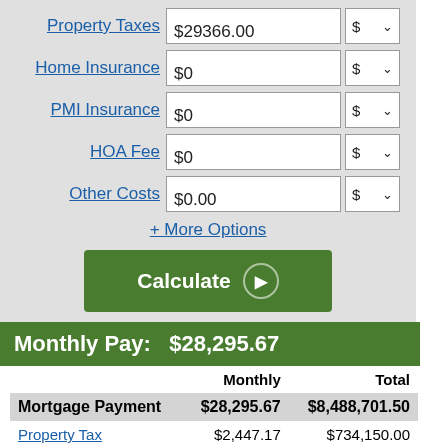|  | Monthly | Total |
| --- | --- | --- |
| Property Taxes | $29366.00 | $ ▾ |
| Home Insurance | $0 | $ ▾ |
| PMI Insurance | $0 | $ ▾ |
| HOA Fee | $0 | $ ▾ |
| Other Costs | $0.00 | $ ▾ |
+ More Options
Calculate
Monthly Pay:   $28,295.67
|  | Monthly | Total |
| --- | --- | --- |
| Mortgage Payment | $28,295.67 | $8,488,701.50 |
| Property Tax | $2,447.17 | $734,150.00 |
| Total Out-of-Pocket | $30,742.84 | $9,222,851.50 |